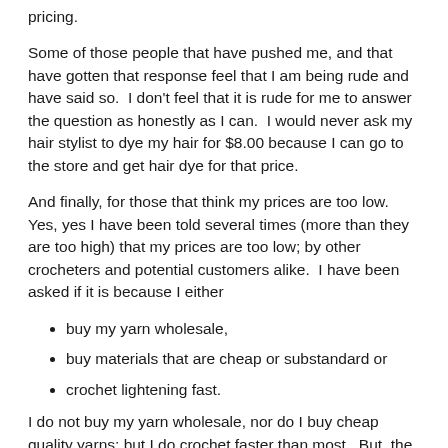pricing.
Some of those people that have pushed me, and that have gotten that response feel that I am being rude and have said so.  I don't feel that it is rude for me to answer the question as honestly as I can.  I would never ask my hair stylist to dye my hair for $8.00 because I can go to the store and get hair dye for that price.
And finally, for those that think my prices are too low.  Yes, yes I have been told several times (more than they are too high) that my prices are too low; by other crocheters and potential customers alike.  I have been asked if it is because I either
buy my yarn wholesale,
buy materials that are cheap or substandard or
crochet lightening fast.
I do not buy my yarn wholesale, nor do I buy cheap quality yarns; but I do crochet faster than most.  But, the main reason I set my prices where I do is because I do not pay